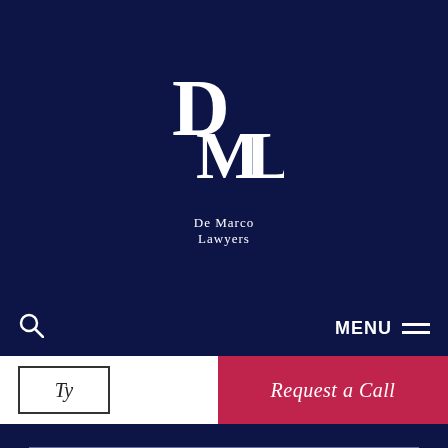[Figure (logo): De Marco Lawyers logo with stylized DML letters and text 'De Marco Lawyers' beneath]
MENU
Ty
Request a Call
© De Marco Lawyers All Rights Reserved.
Disclaimer • Designed & Powered by Web Force 5